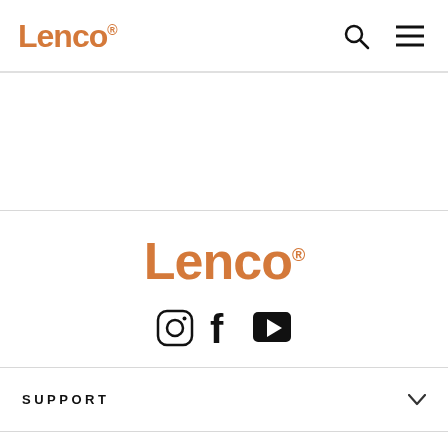Lenco® [search icon] [menu icon]
[Figure (logo): Lenco logo in orange with registered trademark symbol, centered in footer area]
[Figure (infographic): Social media icons: Instagram, Facebook, YouTube]
SUPPORT
ABOUT US
CONTACT